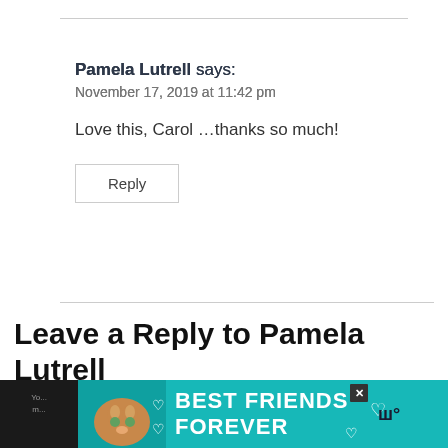Pamela Lutrell says: November 17, 2019 at 11:42 pm
Love this, Carol …thanks so much!
Reply
Leave a Reply to Pamela Lutrell
Cancel reply
[Figure (infographic): Advertisement banner with cat image and text 'BEST FRIENDS FOREVER' on a teal background with hearts, plus a close button and logo]